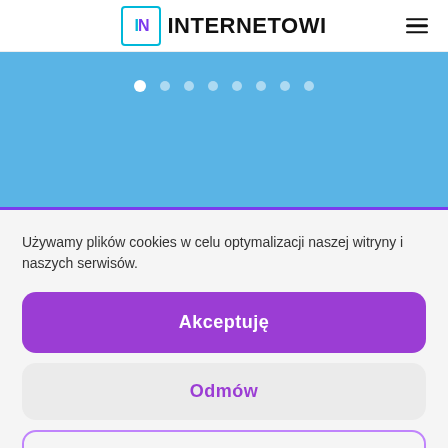[Figure (logo): Internetowi logo with stylized IN box and text INTERNETOWI and hamburger menu icon]
[Figure (screenshot): Blue slider/carousel area with white pagination dots, first dot active]
Używamy plików cookies w celu optymalizacji naszej witryny i naszych serwisów.
[Figure (other): Purple 'Akceptuję' accept button]
[Figure (other): Grey 'Odmów' decline button]
[Figure (other): Outlined 'Preferencje' preferences button]